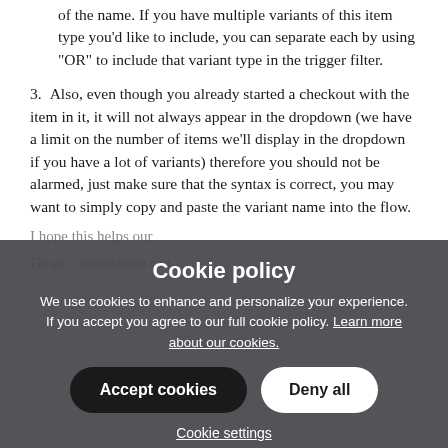of the name. If you have multiple variants of this item type you'd like to include, you can separate each by using "OR" to include that variant type in the trigger filter.
Also, even though you already started a checkout with the item in it, it will not always appear in the dropdown (we have a limit on the number of items we'll display in the dropdown if you have a lot of variants) therefore you should not be alarmed, just make sure that the syntax is correct, you may want to simply copy and paste the variant name into the flow.
I hope this helps our...
Flows    abandoneze cart
[Figure (screenshot): Cookie policy overlay dialog with title 'Cookie policy', body text about cookies, Accept cookies and Deny all buttons, and Cookie settings link.]
← ↔ ○ →